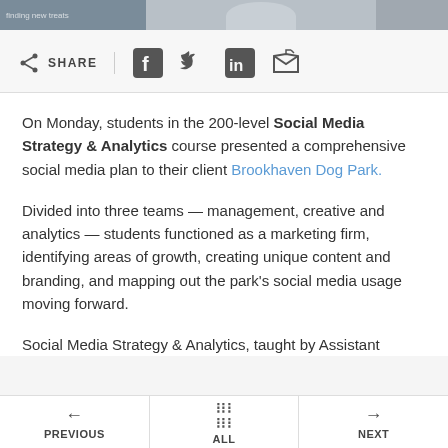[Figure (photo): Top image bar showing partial photo with dark background]
SHARE (with social media icons: Facebook, Twitter, LinkedIn, Email)
On Monday, students in the 200-level Social Media Strategy & Analytics course presented a comprehensive social media plan to their client Brookhaven Dog Park.
Divided into three teams — management, creative and analytics — students functioned as a marketing firm, identifying areas of growth, creating unique content and branding, and mapping out the park's social media usage moving forward.
Social Media Strategy & Analytics, taught by Assistant
PREVIOUS   ALL   NEXT